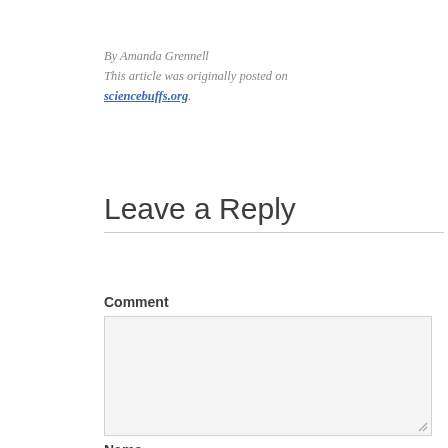By Amanda Grennell
This article was originally posted on sciencebuffs.org.
Leave a Reply
Comment
Name